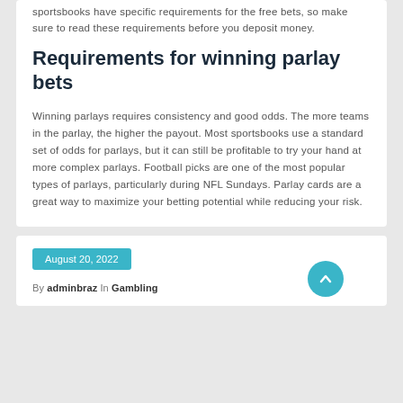sportsbooks have specific requirements for the free bets, so make sure to read these requirements before you deposit money.
Requirements for winning parlay bets
Winning parlays requires consistency and good odds. The more teams in the parlay, the higher the payout. Most sportsbooks use a standard set of odds for parlays, but it can still be profitable to try your hand at more complex parlays. Football picks are one of the most popular types of parlays, particularly during NFL Sundays. Parlay cards are a great way to maximize your betting potential while reducing your risk.
August 20, 2022
By adminbraz In Gambling